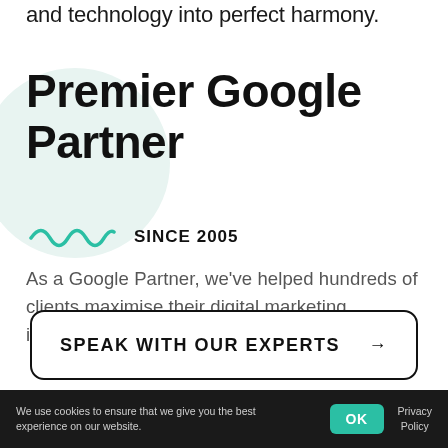and technology into perfect harmony.
Premier Google Partner
[Figure (illustration): Teal wavy decorative line with light teal circular background shape]
SINCE 2005
As a Google Partner, we've helped hundreds of clients maximise their digital marketing investments through innovative strategy.
SPEAK WITH OUR EXPERTS →
We use cookies to ensure that we give you the best experience on our website.